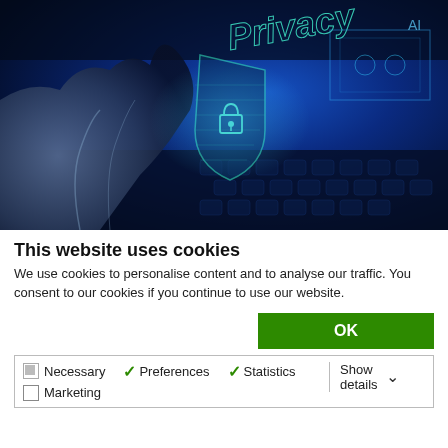[Figure (photo): A hand touching a glowing holographic privacy shield with a padlock icon and the word 'Privacy' displayed on a laptop keyboard background in blue tones]
This website uses cookies
We use cookies to personalise content and to analyse our traffic. You consent to our cookies if you continue to use our website.
OK
Necessary   Preferences   Statistics   Marketing   Show details